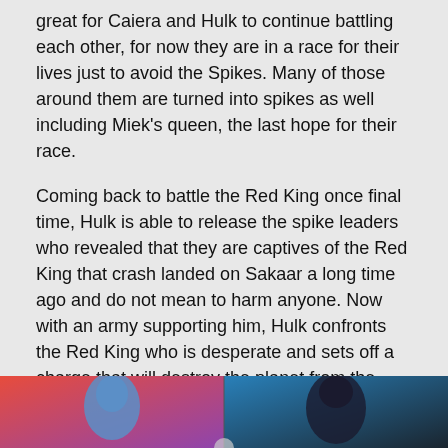great for Caiera and Hulk to continue battling each other, for now they are in a race for their lives just to avoid the Spikes. Many of those around them are turned into spikes as well including Miek's queen, the last hope for their race.
Coming back to battle the Red King once final time, Hulk is able to release the spike leaders who revealed that they are captives of the Red King that crash landed on Sakaar a long time ago and do not mean to harm anyone. Now with an army supporting him, Hulk confronts the Red King who is desperate and sets off a charge that will destroy the planet from the inside. Jumping into the destruction of Sakaar, Hulk grabs the plates of the planet and pulls them back into place himself. As the planet's savior, Hulk slays the Red King. Now would be a time for rebuilding.
King Hulk
[Figure (photo): Two comic book panels side by side: left panel shows a blue-skinned figure against red background, right panel shows a darker figure against blue background]